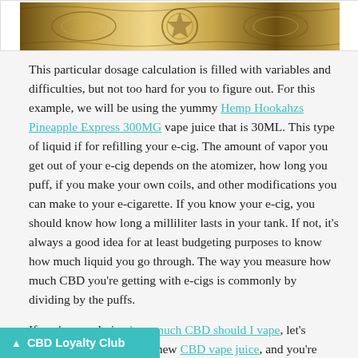[Figure (illustration): Decorative ornamental banner image with gold/bronze tones at the top of the page]
This particular dosage calculation is filled with variables and difficulties, but not too hard for you to figure out. For this example, we will be using the yummy Hemp Hookahzs Pineapple Express 300MG vape juice that is 30ML. This type of liquid if for refilling your e-cig. The amount of vapor you get out of your e-cig depends on the atomizer, how long you puff, if you make your own coils, and other modifications you can make to your e-cigarette. If you know your e-cig, you should know how long a milliliter lasts in your tank. If not, it's always a good idea for at least budgeting purposes to know how much liquid you go through. The way you measure how much CBD you're getting with e-cigs is commonly by dividing by the puffs.
If you're wondering how much CBD should I vape, let's pretend you just got your new CBD vape juice, and you're ...ML tank. It generally takes you 150 puffs ...cig. The first division you are going to do
CBD Loyalty Club